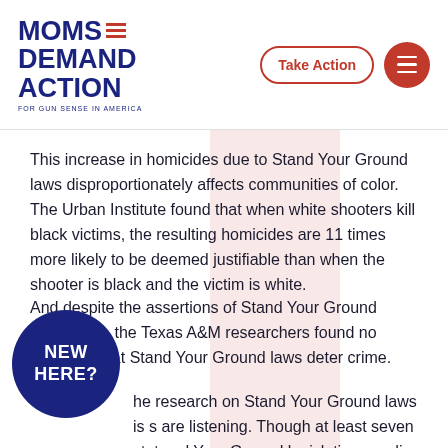MOMS DEMAND ACTION FOR GUN SENSE IN AMERICA
This increase in homicides due to Stand Your Ground laws disproportionately affects communities of color. The Urban Institute found that when white shooters kill black victims, the resulting homicides are 11 times more likely to be deemed justifiable than when the shooter is black and the victim is white.
And despite the assertions of Stand Your Ground supporters, the Texas A&M researchers found no evidence that Stand Your Ground laws deter crime.
...the research on Stand Your Ground laws is ...s are listening. Though at least seven states ...d Your Ground legislation pending at the time of Trayvon Martin's shooting death in February 2012...